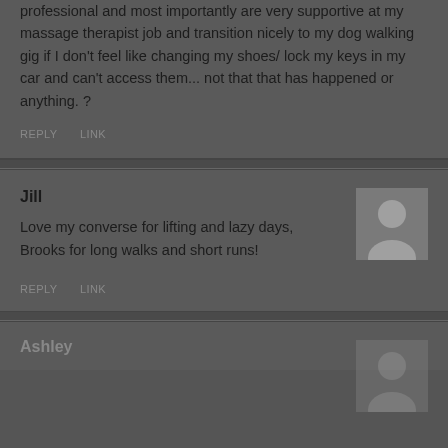professional and most importantly are very supportive at my massage therapist job and transition nicely to my dog walking gig if I don't feel like changing my shoes/ lock my keys in my car and can't access them... not that that has happened or anything. ?
REPLY    LINK
Jill
Love my converse for lifting and lazy days, Brooks for long walks and short runs!
REPLY    LINK
Ashley